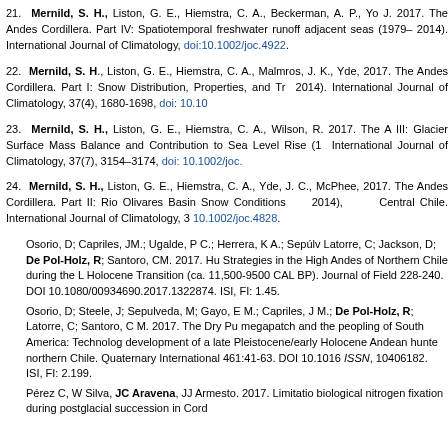21. Mernild, S. H., Liston, G. E., Hiemstra, C. A., Beckerman, A. P., Yo J. 2017. The Andes Cordillera. Part IV: Spatiotemporal freshwater runoff adjacent seas (1979– 2014). International Journal of Climatology. doi:10.1002/joc.4922.
22. Mernild, S. H., Liston, G. E., Hiemstra, C. A., Malmros, J. K., Yde, 2017. The Andes Cordillera. Part I: Snow Distribution, Properties, and Tr 2014). International Journal of Climatology, 37(4), 1680-1698, doi: 10.10
23. Mernild, S. H., Liston, G. E., Hiemstra, C. A., Wilson, R. 2017. The A III: Glacier Surface Mass Balance and Contribution to Sea Level Rise (1 International Journal of Climatology, 37(7), 3154–3174, doi: 10.1002/joc.
24. Mernild, S. H., Liston, G. E., Hiemstra, C. A., Yde, J. C., McPhee, 2017. The Andes Cordillera. Part II: Rio Olivares Basin Snow Conditions 2014), Central Chile. International Journal of Climatology, 3 10.1002/joc.4828.
Osorio, D; Capriles, JM.; Ugalde, P C.; Herrera, K A.; Sepúlveda Latorre, C; Jackson, D; De Pol-Holz, R; Santoro, CM. 2017. Hu Strategies in the High Andes of Northern Chile during the L Holocene Transition (ca. 11,500-9500 CAL BP). Journal of Field 228-240. DOI 10.1080/00934690.2017.1322874. ISI, FI: 1.45.
Osorio, D; Steele, J; Sepulveda, M; Gayo, E M.; Capriles, J M.; De Pol-Holz, R; Latorre, C; Santoro, C M. 2017. The Dry Pu megapatch and the peopling of South America: Technolog development of a late Pleistocene/early Holocene Andean hunte northern Chile. Quaternary International 461:41-63. DOI 10.1016 ISSN, 10406182. ISI, FI: 2.199.
Pérez C, W Silva, JC Aravena, JJ Armesto. 2017. Limitatio biological nitrogen fixation during postglacial succession in Cord